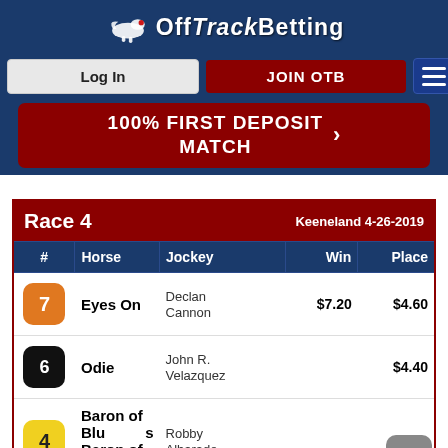OffTrackBetting
Log In | JOIN OTB
100% FIRST DEPOSIT MATCH
| # | Horse | Jockey | Win | Place |
| --- | --- | --- | --- | --- |
| 7 | Eyes On | Declan Cannon | $7.20 | $4.60 |
| 6 | Odie | John R. Velazquez |  | $4.40 |
| 4 | Baron of Bluegrass | Robby Albarado |  |  |